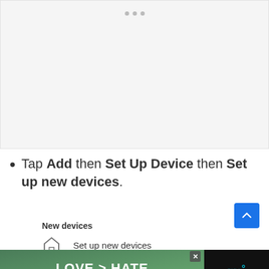[Figure (screenshot): A screenshot placeholder area with three dots indicating a carousel/image at the top]
Tap Add then Set Up Device then Set up new devices.
New devices
Set up new devices
[Figure (photo): Advertisement banner: hands forming heart shape with text LOVE > HATE, with a close button and logo]